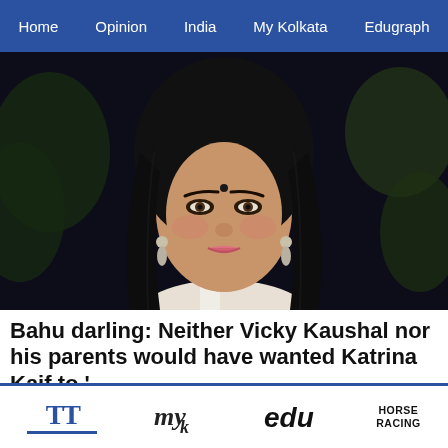Home  Opinion  India  My Kolkata  Edugraph
[Figure (photo): Portrait photo of Katrina Kaif wearing white, with dark hair, bindi, and earrings, against a dark background with foliage]
Bahu darling: Neither Vicky Kaushal nor his parents would have wanted Katrina Kaif to '...
Neither Vicky nor his parents would have wanted Katrina to 'fit into' their set-up
Telegraph India
TT  my  edu  HORSE RACING